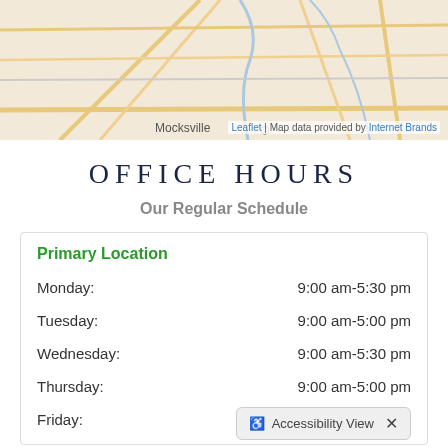[Figure (map): Street map showing Mocksville area with road network, tan/beige background, orange and yellow roads visible]
Leaflet | Map data provided by Internet Brands
OFFICE HOURS
Our Regular Schedule
| Day | Hours |
| --- | --- |
| Monday: | 9:00 am-5:30 pm |
| Tuesday: | 9:00 am-5:00 pm |
| Wednesday: | 9:00 am-5:30 pm |
| Thursday: | 9:00 am-5:00 pm |
| Friday: |  |